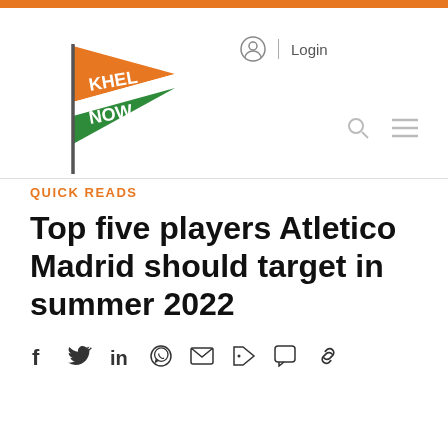[Figure (logo): Khel Now logo — a pennant flag in orange, white and green with 'KHEL NOW' text in white]
Login
QUICK READS
Top five players Atletico Madrid should target in summer 2022
[Figure (infographic): Social share icons: Facebook, Twitter, LinkedIn, WhatsApp, Email, Tag, Comment, Link]